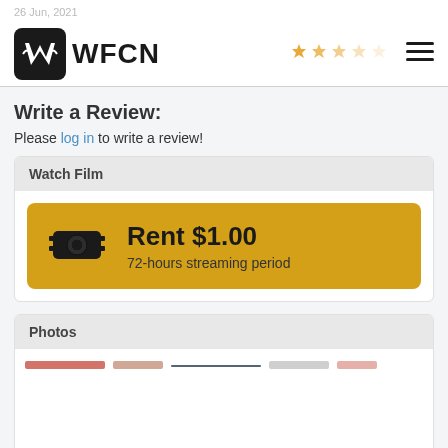26 Jun, 2021
[Figure (logo): WFCN logo with stylized W in black rounded square and WFCN text, star ratings and hamburger menu on right]
Write a Review:
Please log in to write a review!
Watch Film
Rent $1.00
72-hours streaming period
Photos